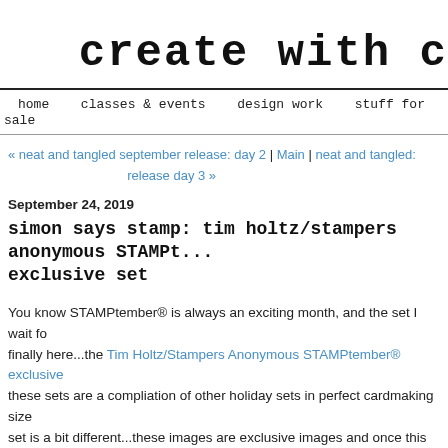create with c
home   classes & events   design work   stuff for sale
« neat and tangled september release: day 2 | Main | neat and tangled: release day 3 »
September 24, 2019
simon says stamp: tim holtz/stampers anonymous STAMPtember exclusive set
You know STAMPtember® is always an exciting month, and the set I wait for is finally here...the Tim Holtz/Stampers Anonymous STAMPtember® exclusive...these sets are a compliation of other holiday sets in perfect cardmaking size...set is a bit different...these images are exclusive images and once this set is gone! I love the idea of having a collector's item! Thanks to Tim and Heidi a